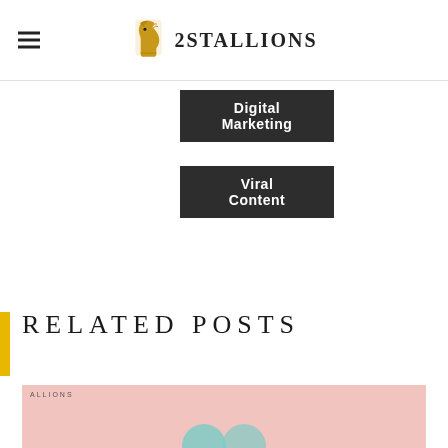2Stallions
Digital Marketing
Viral Content
RELATED POSTS
[Figure (photo): Pink background post thumbnail with 2Stallions branding and partial image visible]